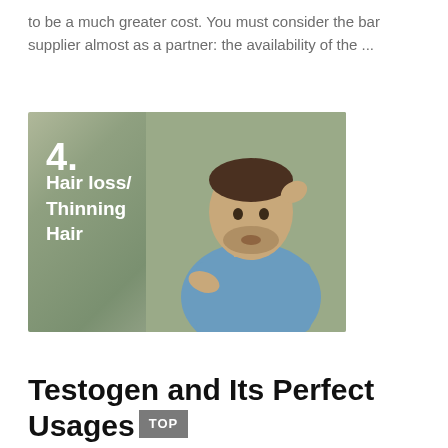to be a much greater cost. You must consider the bar supplier almost as a partner: the availability of the ...
[Figure (photo): Man looking worried at his hair loss, with text overlay '4. Hair loss/ Thinning Hair']
DRINK
Testogen and Its Perfect Usages You Now